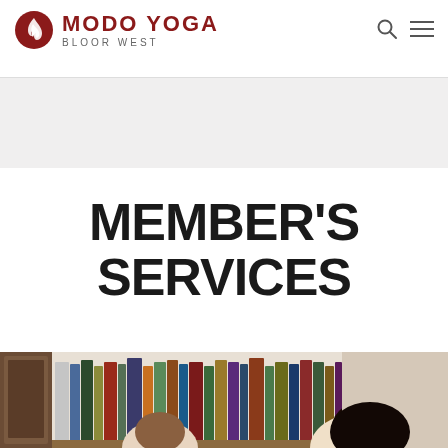MODO YOGA BLOOR WEST
MEMBER'S SERVICES
[Figure (photo): Photo of people in front of a bookshelf with colorful book spines, partially cropped at bottom of page]